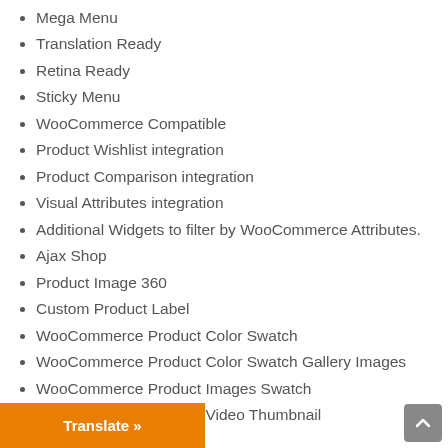Mega Menu
Translation Ready
Retina Ready
Sticky Menu
WooCommerce Compatible
Product Wishlist integration
Product Comparison integration
Visual Attributes integration
Additional Widgets to filter by WooCommerce Attributes.
Ajax Shop
Product Image 360
Custom Product Label
WooCommerce Product Color Swatch
WooCommerce Product Color Swatch Gallery Images
WooCommerce Product Images Swatch
WooCommerce Product Video Thumbnail
or Attribute Filter
uct